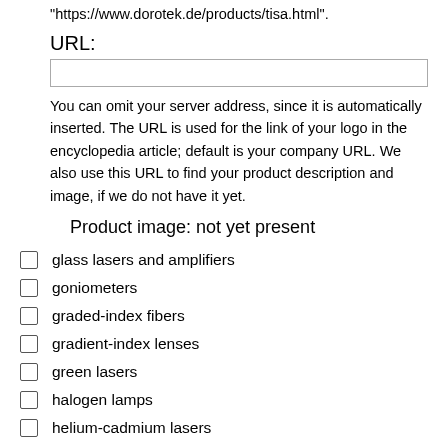"https://www.dorotek.de/products/tisa.html".
URL:
You can omit your server address, since it is automatically inserted. The URL is used for the link of your logo in the encyclopedia article; default is your company URL. We also use this URL to find your product description and image, if we do not have it yet.
Product image: not yet present
glass lasers and amplifiers
goniometers
graded-index fibers
gradient-index lenses
green lasers
halogen lamps
helium-cadmium lasers